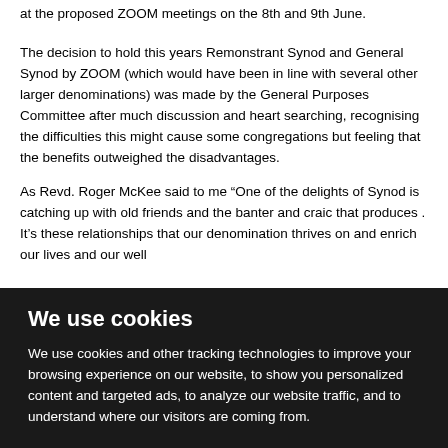at the proposed ZOOM meetings on the 8th and 9th June.
The decision to hold this years Remonstrant Synod and General Synod by ZOOM (which would have been in line with several other larger denominations) was made by the General Purposes Committee after much discussion and heart searching, recognising the difficulties this might cause some congregations but feeling that the benefits outweighed the disadvantages.
As Revd. Roger McKee said to me “One of the delights of Synod is catching up with old friends and the banter and craic that produces . It’s these relationships that our denomination thrives on and enrich our lives and our well
We use cookies
We use cookies and other tracking technologies to improve your browsing experience on our website, to show you personalized content and targeted ads, to analyze our website traffic, and to understand where our visitors are coming from.